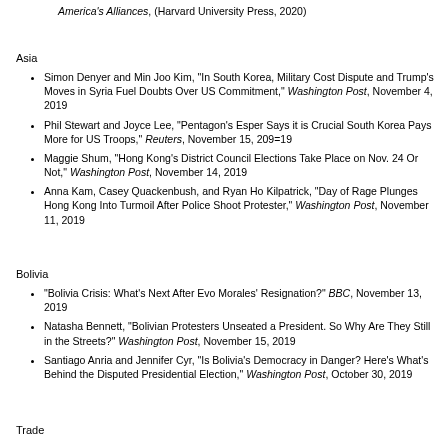America's Alliances, (Harvard University Press, 2020)
Asia
Simon Denyer and Min Joo Kim, "In South Korea, Military Cost Dispute and Trump's Moves in Syria Fuel Doubts Over US Commitment," Washington Post, November 4, 2019
Phil Stewart and Joyce Lee, "Pentagon's Esper Says it is Crucial South Korea Pays More for US Troops," Reuters, November 15, 209=19
Maggie Shum, "Hong Kong's District Council Elections Take Place on Nov. 24 Or Not," Washington Post, November 14, 2019
Anna Kam, Casey Quackenbush, and Ryan Ho Kilpatrick, "Day of Rage Plunges Hong Kong Into Turmoil After Police Shoot Protester," Washington Post, November 11, 2019
Bolivia
"Bolivia Crisis: What's Next After Evo Morales' Resignation?" BBC, November 13, 2019
Natasha Bennett, "Bolivian Protesters Unseated a President. So Why Are They Still in the Streets?" Washington Post, November 15, 2019
Santiago Anria and Jennifer Cyr, "Is Bolivia's Democracy in Danger? Here's What's Behind the Disputed Presidential Election," Washington Post, October 30, 2019
Trade